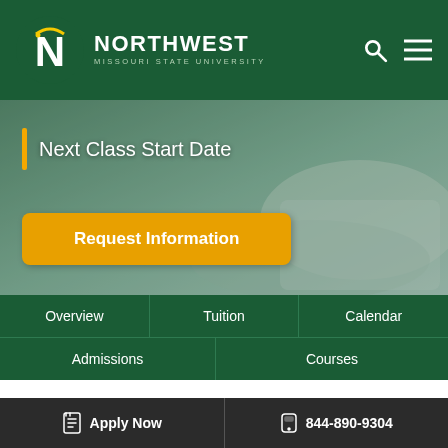[Figure (logo): Northwest Missouri State University logo with N icon and text]
Next Class Start Date
Request Information
Overview
Tuition
Calendar
Admissions
Courses
Overview
Discover the Benefits of Our
Apply Now  844-890-9304